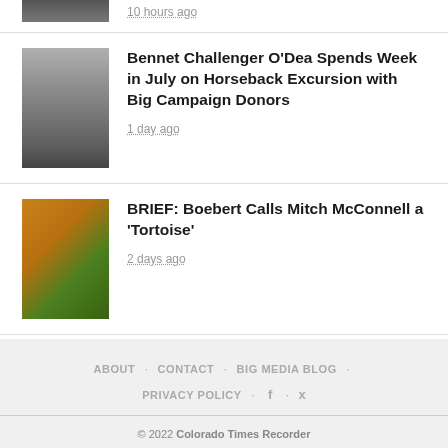[Figure (photo): Partial photo thumbnail at top of page, cropped]
10 hours ago
[Figure (photo): Man in gray blazer and pink shirt standing in front of a chalkboard]
Bennet Challenger O’Dea Spends Week in July on Horseback Excursion with Big Campaign Donors
1 day ago
[Figure (photo): Photo of Mitch McConnell superimposed with a tortoise]
BRIEF: Boebert Calls Mitch McConnell a ‘Tortoise’
2 days ago
ABOUT · CONTACT · BIG MEDIA BLOG · PRIVACY POLICY · f · 🐦
© 2022 Colorado Times Recorder